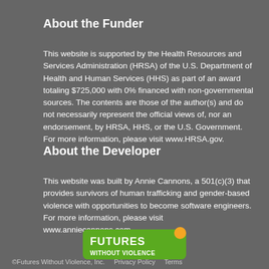About the Funder
This website is supported by the Health Resources and Services Administration (HRSA) of the U.S. Department of Health and Human Services (HHS) as part of an award totaling $725,000 with 0% financed with non-governmental sources. The contents are those of the author(s) and do not necessarily represent the official views of, nor an endorsement, by HRSA, HHS, or the U.S. Government. For more information, please visit www.HRSA.gov.
About the Developer
This website was built by Annie Cannons, a 501(c)(3) that provides survivors of human trafficking and gender-based violence with opportunities to become software engineers. For more information, please visit www.anniecannons.com.
[Figure (logo): Futures Without Violence logo — green rounded rectangle with white text 'FUTURES WITHOUT VIOLENCE' and an orange circular accent]
©Futures Without Violence, Inc.    Privacy Policy    Terms